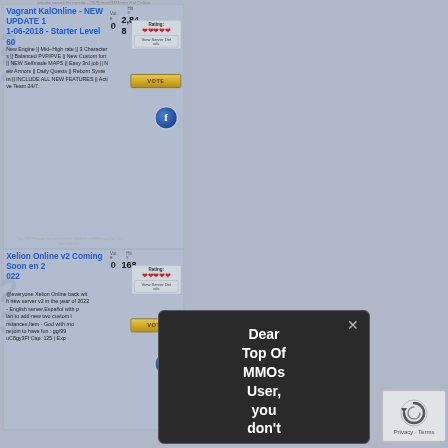private server list topsite - OldSchool/MMorpg Kal Online
Votes 0  Hits 2,848
Vagrant KalOnline - NEW UPDATE 11-06-2018 - Starter Level 60
New Engine || Mid~High rate || 3 Characters || Balanced PVP/PVE || New Custom fort || NEW Selfmade MAPS || Easy 3rd job || New Armors || Daily Quests || Reborn System || INCLUDE ALL NEW FEATURES || Active Team 24/7.
Top 100 Private Servers of the OldSchool/MMorpg Kal Online sitesoft
Votes 0  Hits 168
Xelion Online v2 Coming Soon en 2022
@everyone Xelion Online back with new server v2 in the year of 2022 - English server,Español with plan to add new two customs instances,Item - God with more join to have fun : gg/99uC8gy3Ff Cap: 125 | Exp
[Figure (other): Dark popup dialog box with close button (×) and text: Dear Top Of MMOs User, you don't wanna]
[Figure (other): reCAPTCHA widget with circular arrow icon, Privacy and Terms links]